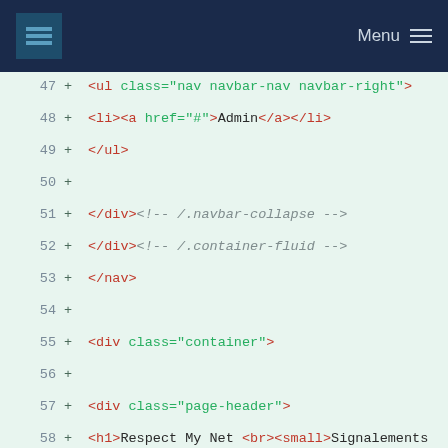Menu
[Figure (screenshot): Code diff view showing HTML lines 47-59 with line numbers and + diff markers on a light green background. Lines show HTML for a navbar and container with nav, ul, li, div elements and comments.]